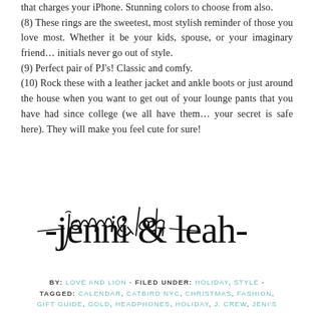that charges your iPhone. Stunning colors to choose from also.
(8) These rings are the sweetest, most stylish reminder of those you love most. Whether it be your kids, spouse, or your imaginary friend… initials never go out of style.
(9) Perfect pair of PJ's! Classic and comfy.
(10) Rock these with a leather jacket and ankle boots or just around the house when you want to get out of your lounge pants that you have had since college (we all have them… your secret is safe here). They will make you feel cute for sure!
[Figure (illustration): Handwritten cursive signature reading 'jenni & leah' with decorative dashes on either side]
BY: LOVE AND LION - FILED UNDER: HOLIDAY, STYLE - TAGGED: CALENDAR, CATBIRD NYC, CHRISTMAS, FASHION, GIFT GUIDE, GOLD, HEADPHONES, HOLIDAY, J. CREW, JENI'S